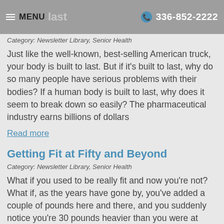MENU last  336-852-2222
Category: Newsletter Library, Senior Health
Just like the well-known, best-selling American truck, your body is built to last. But if it's built to last, why do so many people have serious problems with their bodies? If a human body is built to last, why does it seem to break down so easily? The pharmaceutical industry earns billions of dollars
Read more
Getting Fit at Fifty and Beyond
Category: Newsletter Library, Senior Health
What if you used to be really fit and now you're not? What if, as the years have gone by, you've added a couple of pounds here and there, and you suddenly notice you're 30 pounds heavier than you were at your 10th high school reunion? Or, what if you've never enjoyed the idea of exercising, exercise